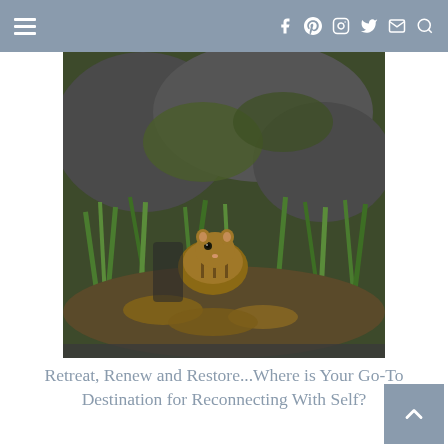Navigation bar with hamburger menu and social icons (f, pinterest, instagram, twitter, mail, search)
[Figure (photo): A chipmunk or small rodent near mossy rocks with green grass and fallen leaves, peeking from a crevice]
Retreat, Renew and Restore...Where is Your Go-To Destination for Reconnecting With Self?
[Figure (photo): A brown butterfly perched on red flowers (cardinal flowers) with green foliage background, overlaid with a quote: 'We must find the time to stop and thank the people who make a difference in our lives. -John F. Kennedy']